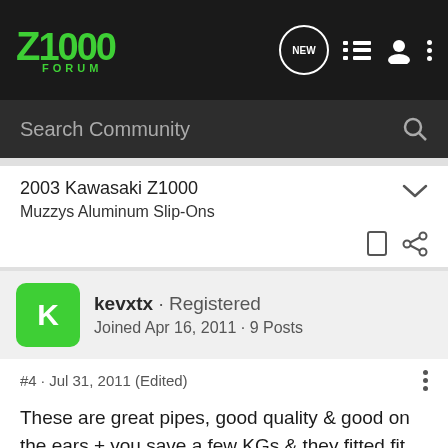Z1000 FORUM
Search Community
2003 Kawasaki Z1000
Muzzys Aluminum Slip-Ons
kevxtx · Registered
Joined Apr 16, 2011 · 9 Posts
#4 · Jul 31, 2011 (Edited)
These are great pipes, good quality & good on the ears + you save a few KGs & they fitted fit perfectly.

Bike has a +1 front sprocket, Speedo Healer, DNA main filter & PCV, it pulls much better than when it was standard.